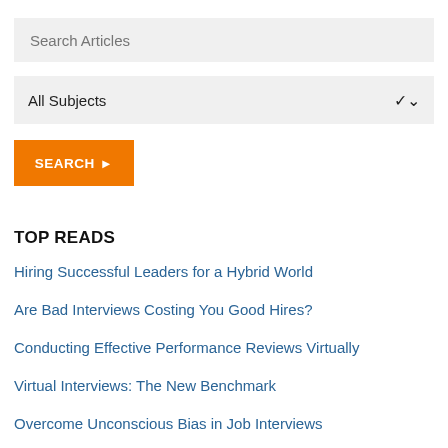Search Articles
All Subjects
SEARCH ▶
TOP READS
Hiring Successful Leaders for a Hybrid World
Are Bad Interviews Costing You Good Hires?
Conducting Effective Performance Reviews Virtually
Virtual Interviews: The New Benchmark
Overcome Unconscious Bias in Job Interviews